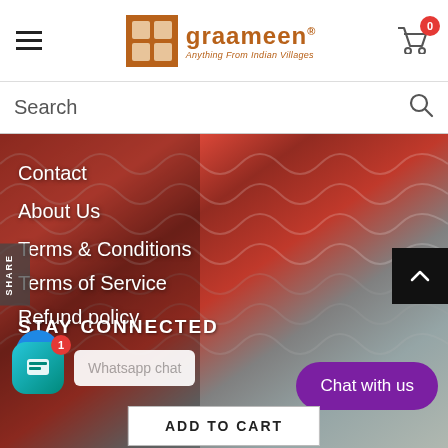[Figure (screenshot): Graameen e-commerce website header with hamburger menu, logo, and cart icon showing 0 items]
Search
[Figure (photo): Close-up photo of colorful knitted/woolen textiles in red and grey tones]
Contact
About Us
Terms & Conditions
Terms of Service
Refund policy
SHARE
STAY CONNECTED
Whatsapp chat
Chat with us
ADD TO CART